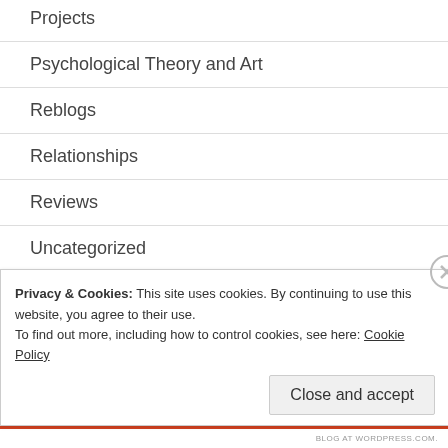Projects
Psychological Theory and Art
Reblogs
Relationships
Reviews
Uncategorized
Visionary Environments
Privacy & Cookies: This site uses cookies. By continuing to use this website, you agree to their use.
To find out more, including how to control cookies, see here: Cookie Policy
Close and accept